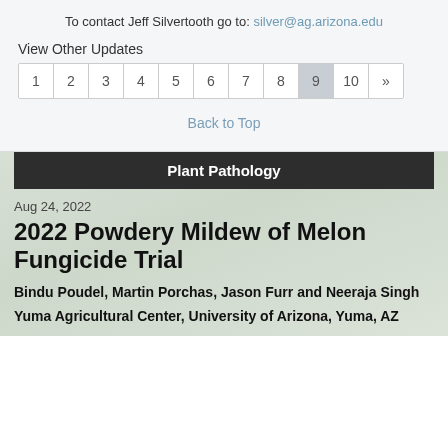To contact Jeff Silvertooth go to: silver@ag.arizona.edu
View Other Updates
1 2 3 4 5 6 7 8 9 10 »
Back to Top
Plant Pathology
Aug 24, 2022
2022 Powdery Mildew of Melon Fungicide Trial
Bindu Poudel, Martin Porchas, Jason Furr and Neeraja Singh
Yuma Agricultural Center, University of Arizona, Yuma, AZ